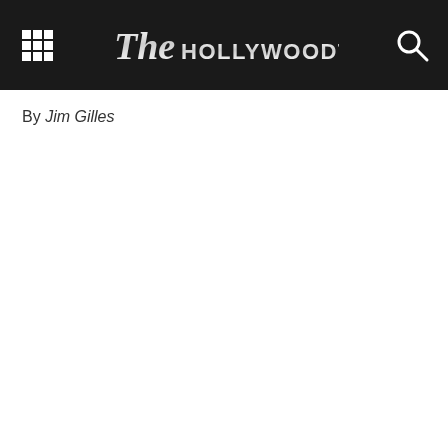The Hollywood Times
By Jim Gilles